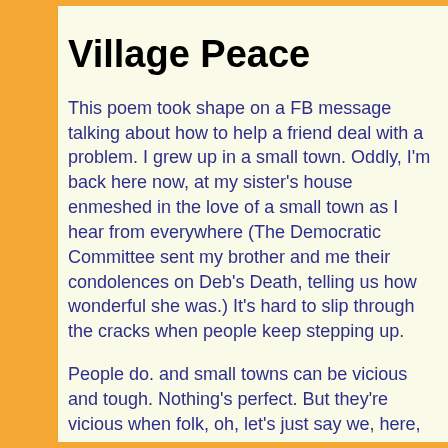Village Peace
This poem took shape on a FB message talking about how to help a friend deal with a problem. I grew up in a small town. Oddly, I'm back here now, at my sister's house enmeshed in the love of a small town as I hear from everywhere (The Democratic Committee sent my brother and me their condolences on Deb's Death, telling us how wonderful she was.) It's hard to slip through the cracks when people keep stepping up.
People do. and small towns can be vicious and tough. Nothing's perfect. But they're vicious when folk, oh, let's just say we, here, eh?, aren't conscious about the forming of community, when we're lazy...